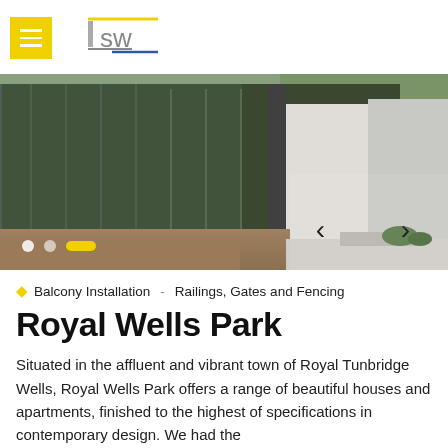[Figure (logo): ISW company logo with yellow menu button and grey ISW lettering with yellow and blue underlines]
[Figure (photo): Photograph of modern building with floor-to-ceiling glass windows and exterior view of Royal Wells Park development]
Balcony Installation - Railings, Gates and Fencing
Royal Wells Park
Situated in the affluent and vibrant town of Royal Tunbridge Wells, Royal Wells Park offers a range of beautiful houses and apartments, finished to the highest of specifications in contemporary design. We had the